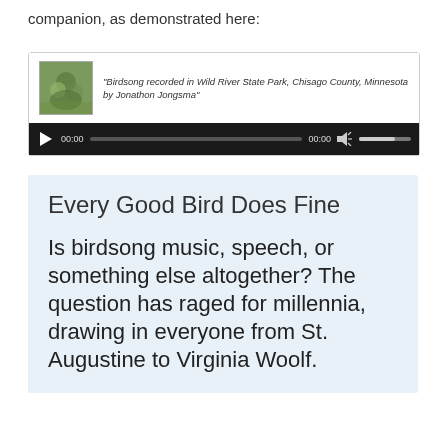companion, as demonstrated here:
[Figure (screenshot): Audio player widget showing birdsong recording. Title reads: "Birdsong recorded in Wild River State Park, Chisago County, Minnesota by Jonathon Jongsma". Player controls show play button, 00:00 time, progress bar, 00:00 end time, volume icon and volume slider.]
Every Good Bird Does Fine
Is birdsong music, speech, or something else altogether? The question has raged for millennia, drawing in everyone from St. Augustine to Virginia Woolf.